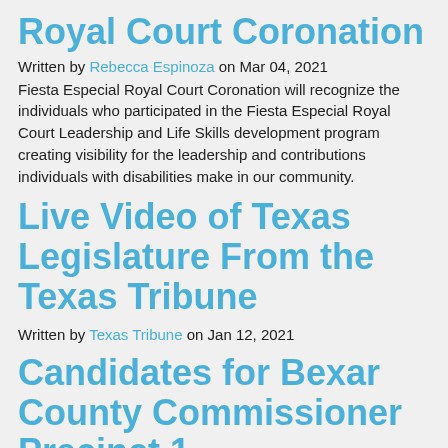Royal Court Coronation
Written by Rebecca Espinoza on Mar 04, 2021
Fiesta Especial Royal Court Coronation will recognize the individuals who participated in the Fiesta Especial Royal Court Leadership and Life Skills development program creating visibility for the leadership and contributions individuals with disabilities make in our community.
Live Video of Texas Legislature From the Texas Tribune
Written by Texas Tribune on Jan 12, 2021
Candidates for Bexar County Commissioner Precinct 1
Written by Rebecca Espinoza on Oct 29, 2020
The League of Women Voters of the San Antonio Area hosted a forum at KLRN for the 2020 candidates for County Commissioner